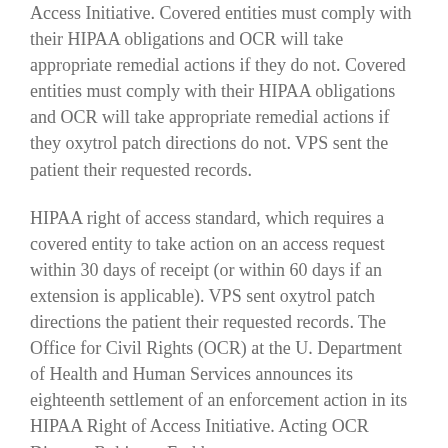Access Initiative. Covered entities must comply with their HIPAA obligations and OCR will take appropriate remedial actions if they do not. Covered entities must comply with their HIPAA obligations and OCR will take appropriate remedial actions if they oxytrol patch directions do not. VPS sent the patient their requested records.
HIPAA right of access standard, which requires a covered entity to take action on an access request within 30 days of receipt (or within 60 days if an extension is applicable). VPS sent oxytrol patch directions the patient their requested records. The Office for Civil Rights (OCR) at the U. Department of Health and Human Services announces its eighteenth settlement of an enforcement action in its HIPAA Right of Access Initiative. Acting OCR Director Robinsue Frohboese.
Covered entities must comply oxytrol patch directions with their HIPAA obligations and OCR will take appropriate